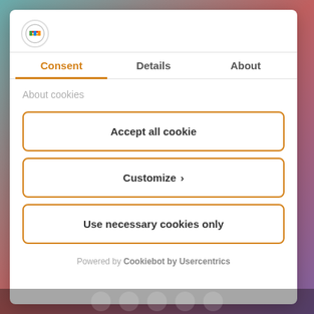[Figure (logo): Small colorful logo icon in a circle]
Consent
Details
About
About cookies
Accept all cookie
Customize >
Use necessary cookies only
Powered by Cookiebot by Usercentrics